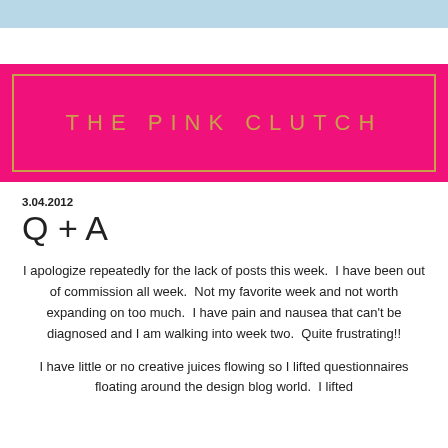[Figure (logo): THE PINK CLUTCH logo on hot pink background with gold border]
3.04.2012
Q + A
I apologize repeatedly for the lack of posts this week.  I have been out of commission all week.  Not my favorite week and not worth expanding on too much.  I have pain and nausea that can't be diagnosed and I am walking into week two.  Quite frustrating!!
I have little or no creative juices flowing so I lifted questionnaires floating around the design blog world.  I lifted